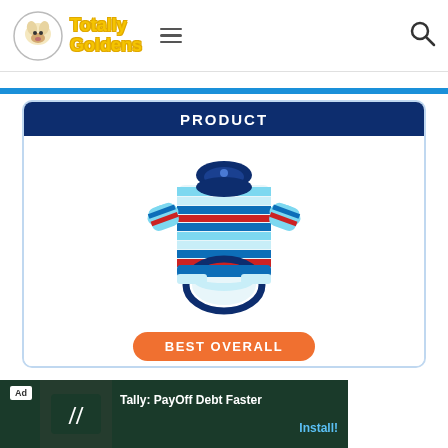Totally Goldens
[Figure (photo): Frisco Striped Dog Polo Shirt in red and blue stripes with a navy collar]
PRODUCT
BEST OVERALL
Frisco Striped Dog Polo Shirt, Red & Blue
Pull-over design
Ad  Tally: PayOff Debt Faster  Install!